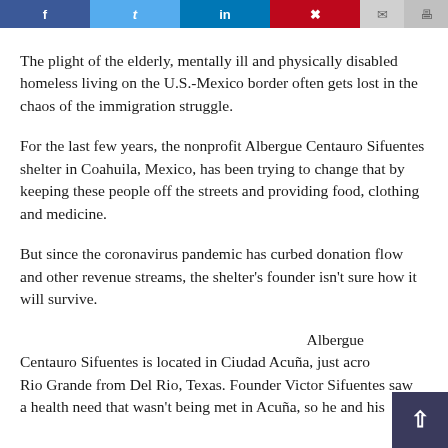[Figure (other): Social media share bar with Facebook, Twitter, LinkedIn, Pinterest, email, and print buttons]
The plight of the elderly, mentally ill and physically disabled homeless living on the U.S.-Mexico border often gets lost in the chaos of the immigration struggle.
For the last few years, the nonprofit Albergue Centauro Sifuentes shelter in Coahuila, Mexico, has been trying to change that by keeping these people off the streets and providing food, clothing and medicine.
But since the coronavirus pandemic has curbed donation flow and other revenue streams, the shelter's founder isn't sure how it will survive.
Albergue Centauro Sifuentes is located in Ciudad Acuña, just acro Rio Grande from Del Rio, Texas. Founder Victor Sifuentes saw a health need that wasn't being met in Acuña, so he and his